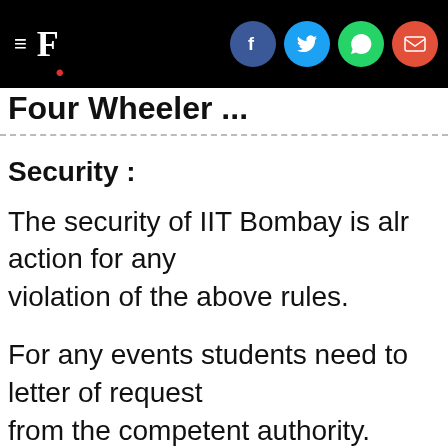F. [social share icons: Facebook, Twitter, WhatsApp, Email]
Four Wheeler .... (cropped)
Security :
The security of IIT Bombay is alr action for any violation of the above rules.
For any events students need to letter of request from the competent authority.